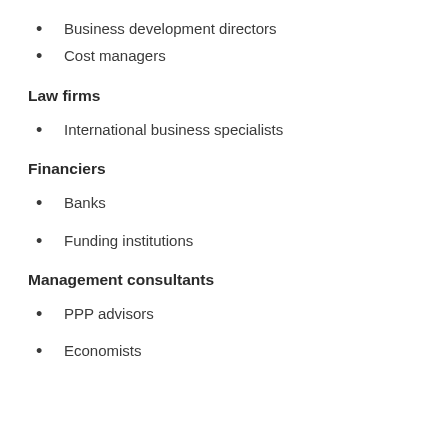Business development directors
Cost managers
Law firms
International business specialists
Financiers
Banks
Funding institutions
Management consultants
PPP advisors
Economists